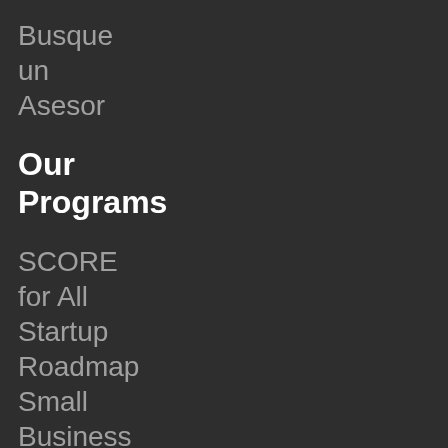Busque un Asesor
Our Programs
SCORE for All
Startup Roadmap
Small Business Resilience
Learning Center
Virtual